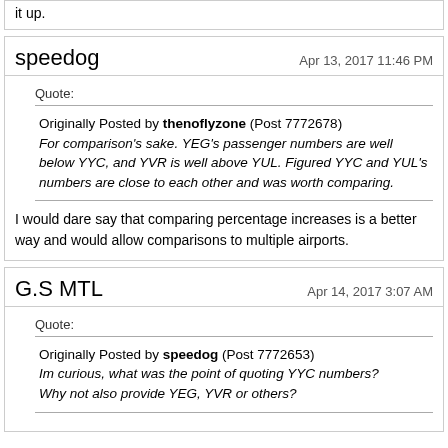it up.
speedog
Apr 13, 2017 11:46 PM
Quote:
Originally Posted by thenoflyzone (Post 7772678)
For comparison's sake. YEG's passenger numbers are well below YYC, and YVR is well above YUL. Figured YYC and YUL's numbers are close to each other and was worth comparing.
I would dare say that comparing percentage increases is a better way and would allow comparisons to multiple airports.
G.S MTL
Apr 14, 2017 3:07 AM
Quote:
Originally Posted by speedog (Post 7772653)
Im curious, what was the point of quoting YYC numbers? Why not also provide YEG, YVR or others?